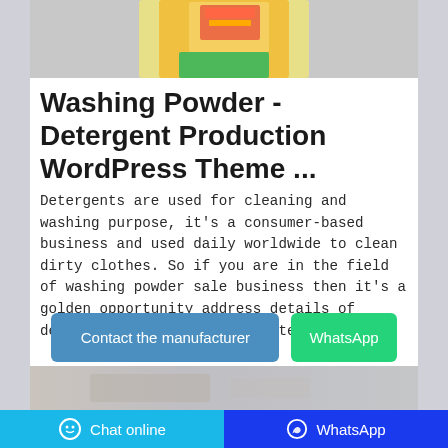[Figure (photo): Product photo of a washing powder / detergent bag with orange and green packaging, on a gray background]
Washing Powder - Detergent Production WordPress Theme ...
Detergents are used for cleaning and washing purpose, it's a consumer-based business and used daily worldwide to clean dirty clothes. So if you are in the field of washing powder sale business then it's a golden opportunity address details of detergent products on the internet.
Contact the manufacturer
WhatsApp
[Figure (photo): Partially visible second product image at the bottom of the card]
Chat online   WhatsApp